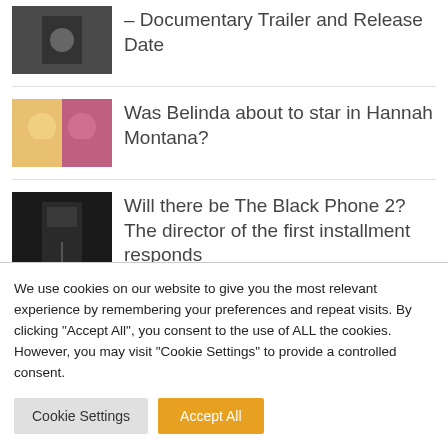– Documentary Trailer and Release Date
Was Belinda about to star in Hannah Montana?
Will there be The Black Phone 2? The director of the first installment responds
We use cookies on our website to give you the most relevant experience by remembering your preferences and repeat visits. By clicking "Accept All", you consent to the use of ALL the cookies. However, you may visit "Cookie Settings" to provide a controlled consent.
Cookie Settings | Accept All